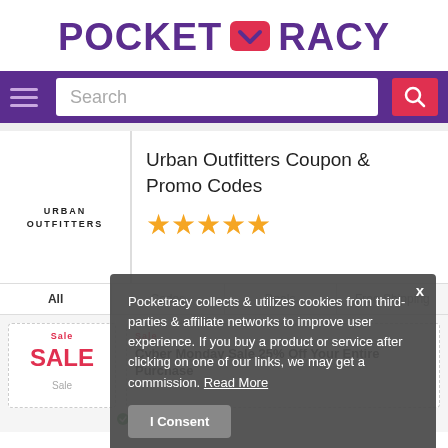[Figure (logo): Pocketracy logo with purple text and red pocket/heart icon]
[Figure (screenshot): Purple navigation bar with hamburger menu, search box, and red search button]
[Figure (logo): Urban Outfitters text logo in left panel]
Urban Outfitters Coupon & Promo Codes
[Figure (infographic): Five gold star rating icons]
All   Codes   Deals   Free Shipping
Sale  Cyber Monday Sale 25% Off Your Entire Purchase  Sale  ✓ Verified
Pocketracy collects & utilizes cookies from third-parties & affiliate networks to improve user experience. If you buy a product or service after clicking on one of our links, we may get a commission. Read More
I Consent